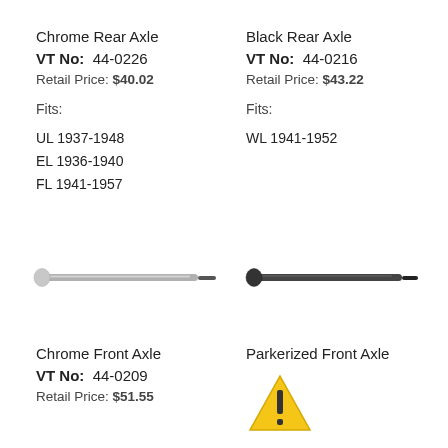Chrome Rear Axle
VT No: 44-0226
Retail Price: $40.02
Fits:
UL 1937-1948
EL 1936-1940
FL 1941-1957
Black Rear Axle
VT No: 44-0216
Retail Price: $43.22
Fits:
WL 1941-1952
[Figure (photo): Chrome rear axle rod, cylindrical, silver/grey finish]
[Figure (photo): Black rear axle rod, cylindrical, dark/black finish]
Chrome Front Axle
VT No: 44-0209
Retail Price: $51.55
Parkerized Front Axle
[Figure (illustration): Warning triangle with exclamation mark icon]